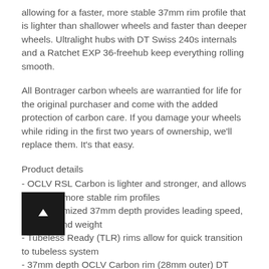allowing for a faster, more stable 37mm rim profile that is lighter than shallower wheels and faster than deeper wheels. Ultralight hubs with DT Swiss 240s internals and a Ratchet EXP 36-freehub keep everything rolling smooth.
All Bontrager carbon wheels are warrantied for life for the original purchaser and come with the added protection of carbon care. If you damage your wheels while riding in the first two years of ownership, we'll replace them. It's that easy.
Product details
- OCLV RSL Carbon is lighter and stronger, and allows for faster, more stable rim profiles
- RSL optimized 37mm depth provides leading speed, stability, and weight
- Tubeless Ready (TLR) rims allow for quick transition to tubeless system
- 37mm depth OCLV Carbon rim (28mm outer) DT Aerolite spokes 24/24, DT ProLock nipples